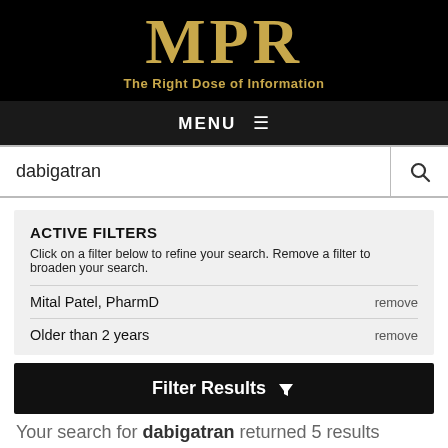MPR — The Right Dose of Information
MENU
dabigatran
ACTIVE FILTERS
Click on a filter below to refine your search. Remove a filter to broaden your search.
Mital Patel, PharmD    remove
Older than 2 years    remove
Filter Results
Your search for dabigatran returned 5 results
Sort Results: Relevant Recent